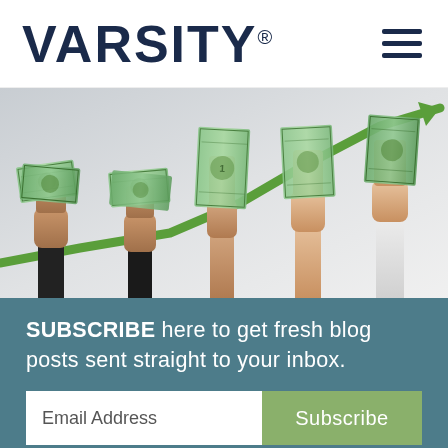VARSITY®
[Figure (photo): Hands holding up US dollar bills at increasing heights in front of a chart background with a green upward-trending arrow line, suggesting increasing investment or income growth.]
SUBSCRIBE here to get fresh blog posts sent straight to your inbox.
Email Address
Subscribe